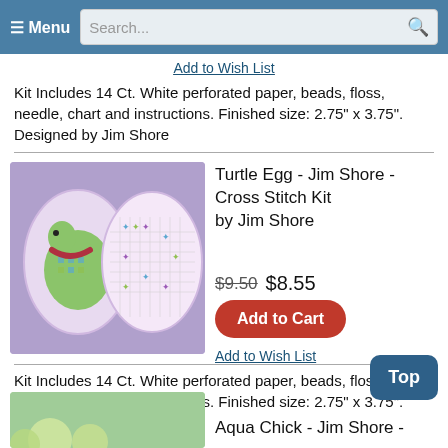Menu | Search...
Add to Wish List
Kit Includes 14 Ct. White perforated paper, beads, floss, needle, chart and instructions. Finished size: 2.75" x 3.75". Designed by Jim Shore
[Figure (photo): Cross stitch kit showing turtle egg design with two embroidered pieces on purple background]
Turtle Egg - Jim Shore - Cross Stitch Kit by Jim Shore
$9.50 $8.55
Add to Cart
Add to Wish List
Kit Includes 14 Ct. White perforated paper, beads, floss, needle, chart and instructions. Finished size: 2.75" x 3.75". Designed by Jim Shore
[Figure (photo): Partial view of Aqua Chick cross stitch kit on green background]
Aqua Chick - Jim Shore -